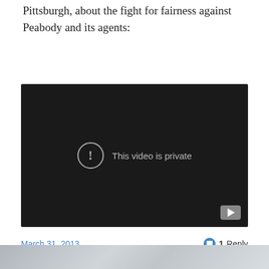Pittsburgh, about the fight for fairness against Peabody and its agents:
[Figure (screenshot): Embedded YouTube video player showing 'This video is private' message with a circle exclamation icon and YouTube logo button in bottom right corner. The player background is dark/black.]
March 31, 2013    1 Reply
[Figure (photo): Partial bottom strip of a photo showing what appears to be a table setting or similar objects in muted grey tones, cut off at bottom of page.]